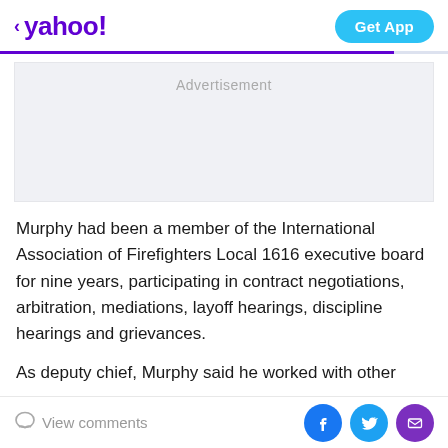< yahoo!  Get App
[Figure (other): Advertisement placeholder box]
Murphy had been a member of the International Association of Firefighters Local 1616 executive board for nine years, participating in contract negotiations, arbitration, mediations, layoff hearings, discipline hearings and grievances.
As deputy chief, Murphy said he worked with other
View comments  [Facebook] [Twitter] [Mail]